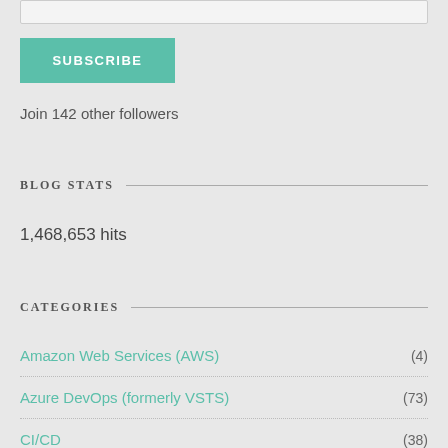SUBSCRIBE
Join 142 other followers
BLOG STATS
1,468,653 hits
CATEGORIES
Amazon Web Services (AWS) (4)
Azure DevOps (formerly VSTS) (73)
CI/CD (38)